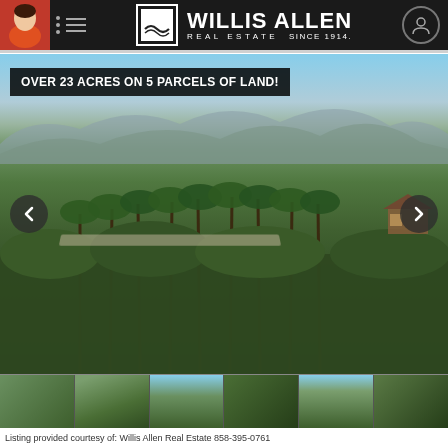WILLIS ALLEN REAL ESTATE SINCE 1914.
[Figure (photo): Aerial view of large property with palm trees, lush vegetation, and mountains in background. Banner reads: OVER 23 ACRES ON 5 PARCELS OF LAND!]
[Figure (photo): Thumbnail strip of 6 property photos]
Listing provided courtesy of: Willis Allen Real Estate 858-395-0761